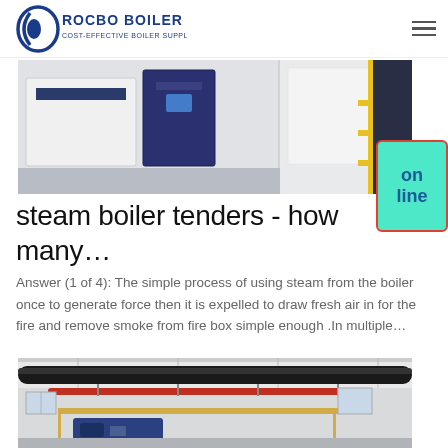ROCBO BOILER - COST-EFFECTIVE BOILER SUPPLIER
[Figure (photo): Industrial boiler units in a white room - two dark navy/blue boiler units side by side with control panels]
steam boiler tenders - how many...
Answer (1 of 4): The simple process of using steam from the boiler once to generate force then it is expelled to draw fresh air in for the fire and remove smoke from fire box simple enough .In multiple…
[Figure (photo): Industrial boiler room interior showing large black pipes on ceiling, red pipes, yellow scaffolding, and blue boiler unit at bottom]